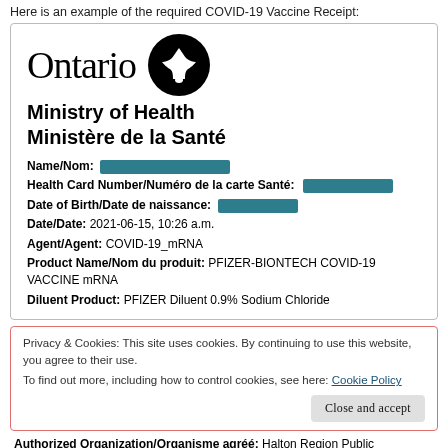Here is an example of the required COVID-19 Vaccine Receipt:
[Figure (logo): Ontario government logo with trillium symbol and wordmark]
Ministry of Health
Ministère de la Santé
Name/Nom: [redacted]
Health Card Number/Numéro de la carte Santé: [redacted]
Date of Birth/Date de naissance: [redacted]
Date/Date: 2021-06-15, 10:26 a.m.
Agent/Agent: COVID-19_mRNA
Product Name/Nom du produit: PFIZER-BIONTECH COVID-19 VACCINE mRNA
Diluent Product: PFIZER Diluent 0.9% Sodium Chloride
Privacy & Cookies: This site uses cookies. By continuing to use this website, you agree to their use.
To find out more, including how to control cookies, see here: Cookie Policy
Close and accept
Authorized Organization/Organisme agréé: Halton Region Public